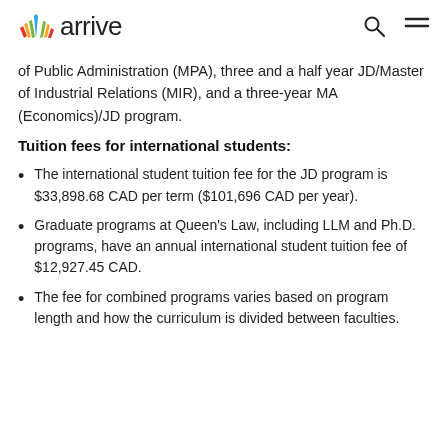arrive
of Public Administration (MPA), three and a half year JD/Master of Industrial Relations (MIR), and a three-year MA (Economics)/JD program.
Tuition fees for international students:
The international student tuition fee for the JD program is $33,898.68 CAD per term ($101,696 CAD per year).
Graduate programs at Queen's Law, including LLM and Ph.D. programs, have an annual international student tuition fee of $12,927.45 CAD.
The fee for combined programs varies based on program length and how the curriculum is divided between faculties.